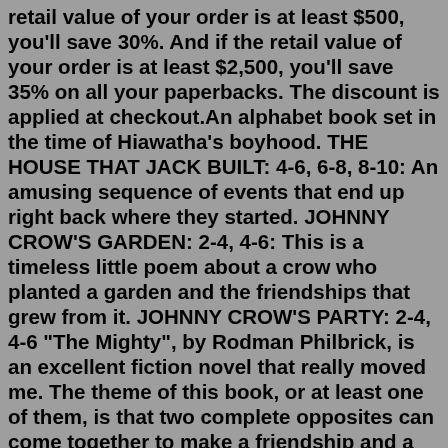retail value of your order is at least $500, you'll save 30%. And if the retail value of your order is at least $2,500, you'll save 35% on all your paperbacks. The discount is applied at checkout.An alphabet book set in the time of Hiawatha's boyhood. THE HOUSE THAT JACK BUILT: 4-6, 6-8, 8-10: An amusing sequence of events that end up right back where they started. JOHNNY CROW'S GARDEN: 2-4, 4-6: This is a timeless little poem about a crow who planted a garden and the friendships that grew from it. JOHNNY CROW'S PARTY: 2-4, 4-6 "The Mighty", by Rodman Philbrick, is an excellent fiction novel that really moved me. The theme of this book, or at least one of them, is that two complete opposites can come together to make a friendship and a team. This story is about two kids: Maxwell Kane, a timid, gentle giant who is slow in school and haunted by a secret of his past times.A brilliant, emotionally charged novel about two boys. One is a slow learner, too large for his age, and the other is a tiny, disabled genius. The two